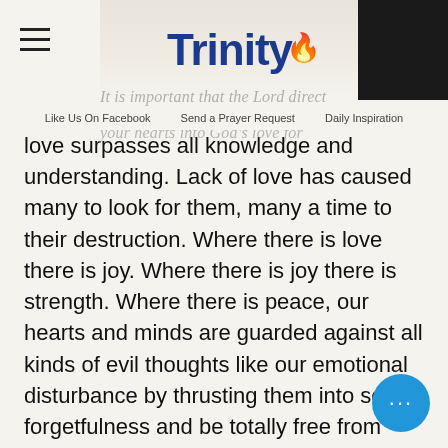[Figure (screenshot): Trinity church website header with logo showing 'Trinity' in bold blue text with a flame icon, a black rectangle in top right, hamburger menu icon on top left, watermark text 'It is important that the Lord direct' and 'your hearts into God's love for', and navigation links: Like Us On Facebook, Send a Prayer Request, Daily Inspiration]
love surpasses all knowledge and understanding. Lack of love has caused many to look for them, many a time to their destruction. Where there is love there is joy. Where there is joy there is strength. Where there is peace, our hearts and minds are guarded against all kinds of evil thoughts like our emotional disturbance by thrusting them into sea of forgetfulness and be totally free from threats of evil one. Philippians 4:7.